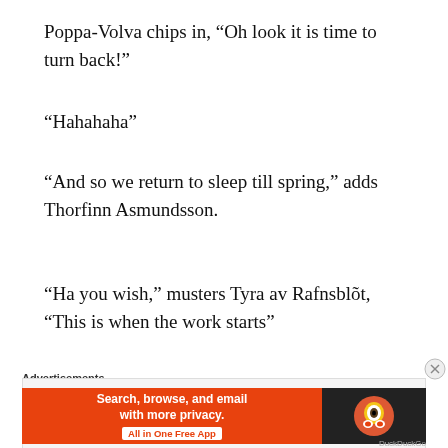Poppa-Volva chips in, “Oh look it is time to turn back!”
“Hahahaha”
“And so we return to sleep till spring,” adds Thorfinn Asmundsson.
“Ha you wish,” musters Tyra av Rafnsblõt, “This is when the work starts”
[Figure (other): Advertisement banner for DuckDuckGo with text: Search, browse, and email with more privacy. All in One Free App]
Advertisements